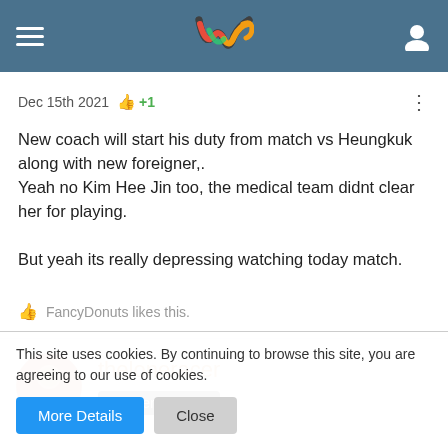theloneracer forum page header with hamburger menu, logo, and user icon
Dec 15th 2021  +1
New coach will start his duty from match vs Heungkuk along with new foreigner,.
Yeah no Kim Hee Jin too, the medical team didnt clear her for playing.

But yeah its really depressing watching today match.
FancyDonuts likes this.
theloneracer
Master
This site uses cookies. By continuing to browse this site, you are agreeing to our use of cookies. More Details  Close